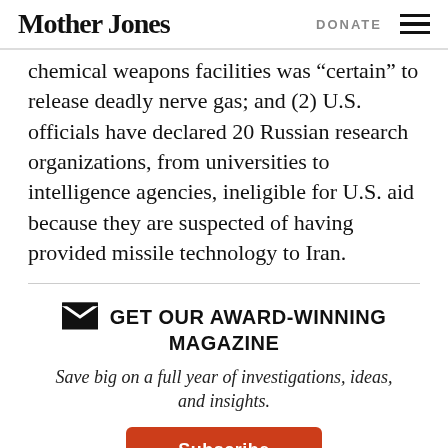Mother Jones | DONATE
chemical weapons facilities was “certain” to release deadly nerve gas; and (2) U.S. officials have declared 20 Russian research organizations, from universities to intelligence agencies, ineligible for U.S. aid because they are suspected of having provided missile technology to Iran.
GET OUR AWARD-WINNING MAGAZINE
Save big on a full year of investigations, ideas, and insights.
Subscribe